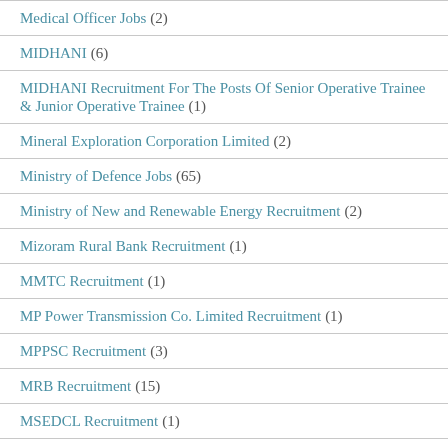Medical Officer Jobs (2)
MIDHANI (6)
MIDHANI Recruitment For The Posts Of Senior Operative Trainee & Junior Operative Trainee (1)
Mineral Exploration Corporation Limited (2)
Ministry of Defence Jobs (65)
Ministry of New and Renewable Energy Recruitment (2)
Mizoram Rural Bank Recruitment (1)
MMTC Recruitment (1)
MP Power Transmission Co. Limited Recruitment (1)
MPPSC Recruitment (3)
MRB Recruitment (15)
MSEDCL Recruitment (1)